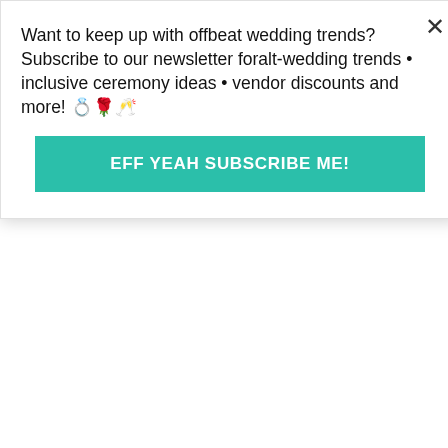finally worked. Last week when I tried to reply to questions it just got angry at me and would not post!)
Just wanted to say thanks everyone for all of the wonderful comments and if you have any more questions about how we pulled off our menu being naturally gluten-free or even just random decoration-ness feel free to bug me on my OBB profile or find me on Twitter, I do check both pretty regularly! Also, yes it is very unfortunate that people had their panties in such a twist about gluten-free, but it's actually a pretty common thing at least in more "Food Conservative" areas where alternative diets are not as readily accepted by the general population. The key is to stick to your guns and
Want to keep up with offbeat wedding trends?Subscribe to our newsletter for​alt-wedding trends • inclusive ceremony ideas • vendor discounts and more! 💍🌹🥂
EFF YEAH SUBSCRIBE ME!